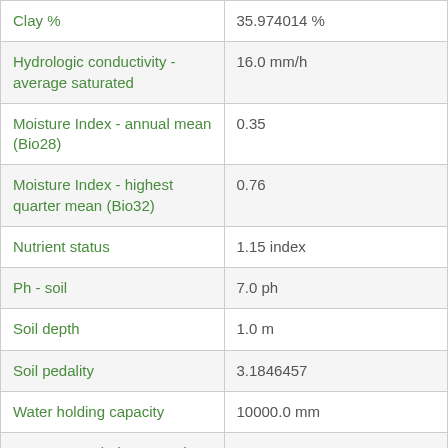| Property | Value |
| --- | --- |
| Clay % | 35.974014 % |
| Hydrologic conductivity - average saturated | 16.0 mm/h |
| Moisture Index - annual mean (Bio28) | 0.35 |
| Moisture Index - highest quarter mean (Bio32) | 0.76 |
| Nutrient status | 1.15 index |
| Ph - soil | 7.0 ph |
| Soil depth | 1.0 m |
| Soil pedality | 3.1846457 |
| Water holding capacity | 10000.0 mm |
| Water stress index - month max | 80.12602 |
| Weathering Intensity V2 | 3.05101 Weathering Intensity Index |
| Topography |  |